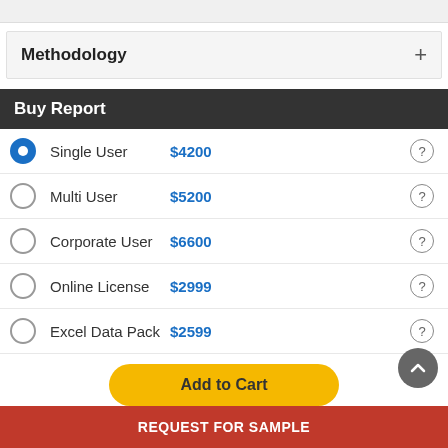Methodology
Buy Report
Single User  $4200
Multi User  $5200
Corporate User  $6600
Online License  $2999
Excel Data Pack  $2599
Add to Cart
REQUEST FOR SAMPLE